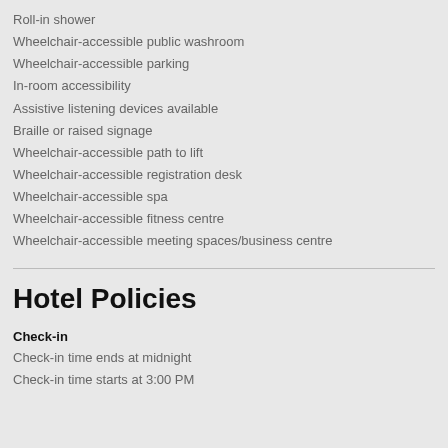Roll-in shower
Wheelchair-accessible public washroom
Wheelchair-accessible parking
In-room accessibility
Assistive listening devices available
Braille or raised signage
Wheelchair-accessible path to lift
Wheelchair-accessible registration desk
Wheelchair-accessible spa
Wheelchair-accessible fitness centre
Wheelchair-accessible meeting spaces/business centre
Hotel Policies
Check-in
Check-in time ends at midnight
Check-in time starts at 3:00 PM